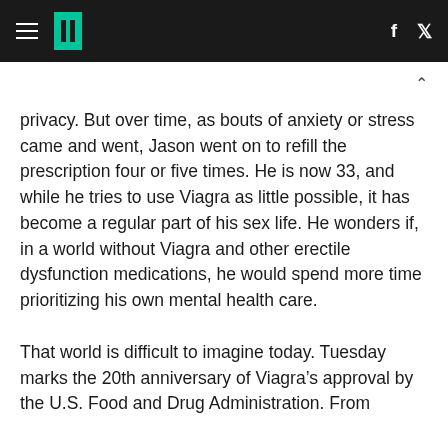HuffPost navigation and social links header
privacy. But over time, as bouts of anxiety or stress came and went, Jason went on to refill the prescription four or five times. He is now 33, and while he tries to use Viagra as little possible, it has become a regular part of his sex life. He wonders if, in a world without Viagra and other erectile dysfunction medications, he would spend more time prioritizing his own mental health care.
That world is difficult to imagine today. Tuesday marks the 20th anniversary of Viagra’s approval by the U.S. Food and Drug Administration. From